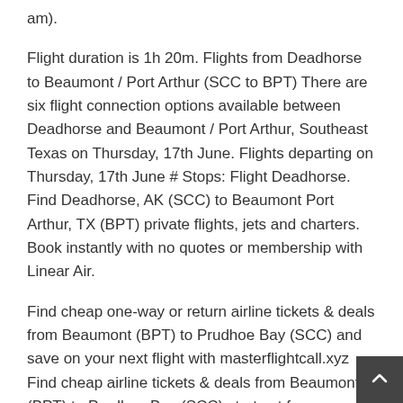am).
Flight duration is 1h 20m. Flights from Deadhorse to Beaumont / Port Arthur (SCC to BPT) There are six flight connection options available between Deadhorse and Beaumont / Port Arthur, Southeast Texas on Thursday, 17th June. Flights departing on Thursday, 17th June # Stops: Flight Deadhorse. Find Deadhorse, AK (SCC) to Beaumont Port Arthur, TX (BPT) private flights, jets and charters. Book instantly with no quotes or membership with Linear Air.
Find cheap one-way or return airline tickets & deals from Beaumont (BPT) to Prudhoe Bay (SCC) and save on your next flight with masterflightcall.xyz Find cheap airline tickets & deals from Beaumont (BPT) to Prudhoe Bay (SCC) starts at for one-way flights and for round trip. Save on your next flight with Expedia. Find cheap one-way or return airline tickets & deals from Prudhoe Bay (SCC) to Beaumont (BPT) and save on your next flight with masterflightcall.xyz Book the cheapest flight to Beaumont BPT.
Compare all the major airlines & Book in just a few easy step...